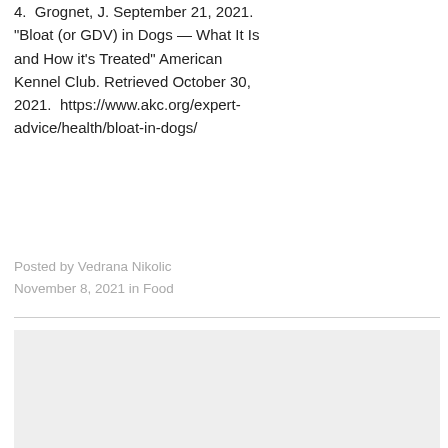4. Grognet, J. September 21, 2021. "Bloat (or GDV) in Dogs — What It Is and How it's Treated" American Kennel Club. Retrieved October 30, 2021.  https://www.akc.org/expert-advice/health/bloat-in-dogs/
Posted by Vedrana Nikolic
November 8, 2021 in Food
[Figure (other): Gray placeholder box at the bottom of the page]